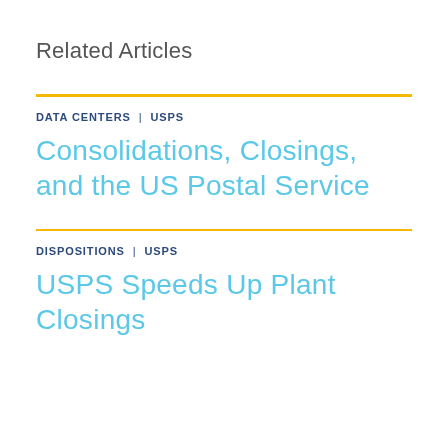Related Articles
DATA CENTERS  |  USPS
Consolidations, Closings, and the US Postal Service
DISPOSITIONS  |  USPS
USPS Speeds Up Plant Closings